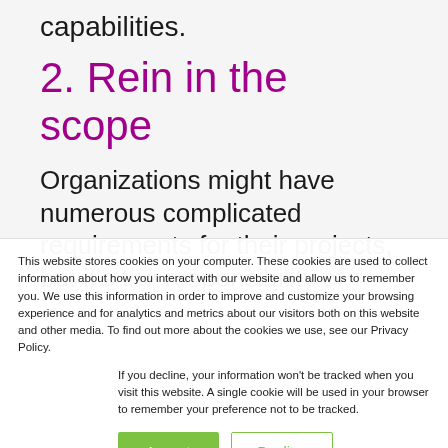capabilities.
2. Rein in the scope
Organizations might have numerous complicated requirements for their projects, but it's the responsibility of
This website stores cookies on your computer. These cookies are used to collect information about how you interact with our website and allow us to remember you. We use this information in order to improve and customize your browsing experience and for analytics and metrics about our visitors both on this website and other media. To find out more about the cookies we use, see our Privacy Policy.
If you decline, your information won't be tracked when you visit this website. A single cookie will be used in your browser to remember your preference not to be tracked.